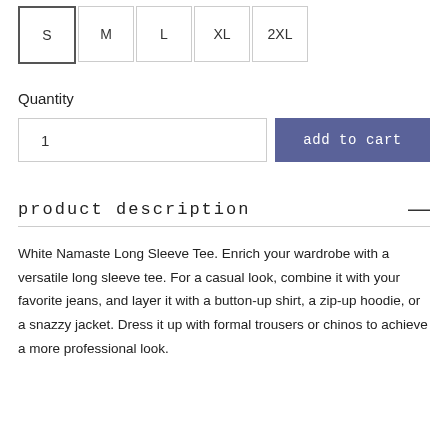S M L XL 2XL (size selector buttons)
Quantity
1
add to cart
product description
White Namaste Long Sleeve Tee. Enrich your wardrobe with a versatile long sleeve tee. For a casual look, combine it with your favorite jeans, and layer it with a button-up shirt, a zip-up hoodie, or a snazzy jacket. Dress it up with formal trousers or chinos to achieve a more professional look.